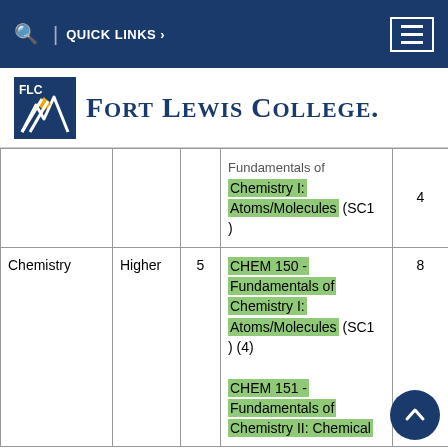QUICK LINKS
[Figure (logo): Fort Lewis College logo with FLC box and chevron mark, followed by text FORT LEWIS COLLEGE.]
| Subject | Level | Score | FLC Equivalent | Credits |
| --- | --- | --- | --- | --- |
|  |  |  | Fundamentals of Chemistry I: Atoms/Molecules (SC1) | 4 |
| Chemistry | Higher | 5 | CHEM 150 - Fundamentals of Chemistry I: Atoms/Molecules (SC1) (4)
CHEM 151 - Fundamentals of Chemistry II: Chemical | 8 |